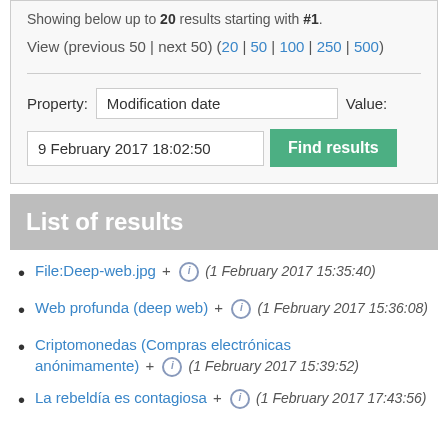Showing below up to 20 results starting with #1.
View (previous 50 | next 50) (20 | 50 | 100 | 250 | 500)
[Figure (screenshot): Form with Property field showing 'Modification date', Value label, date input '9 February 2017 18:02:50', and green 'Find results' button]
List of results
File:Deep-web.jpg + (1 February 2017 15:35:40)
Web profunda (deep web) + (1 February 2017 15:36:08)
Criptomonedas (Compras electrónicas anónimamente) + (1 February 2017 15:39:52)
La rebeldía es contagiosa + (1 February 2017 17:43:56)